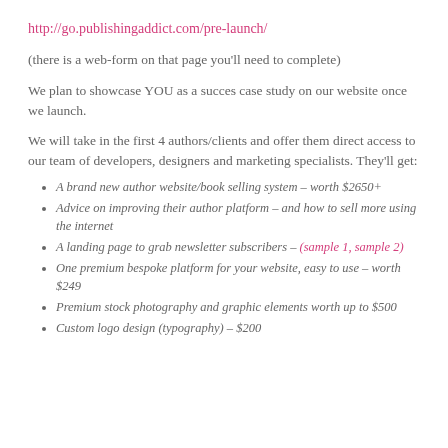http://go.publishingaddict.com/pre-launch/
(there is a web-form on that page you'll need to complete)
We plan to showcase YOU as a succes case study on our website once we launch.
We will take in the first 4 authors/clients and offer them direct access to our team of developers, designers and marketing specialists. They'll get:
A brand new author website/book selling system – worth $2650+
Advice on improving their author platform – and how to sell more using the internet
A landing page to grab newsletter subscribers – (sample 1, sample 2)
One premium bespoke platform for your website, easy to use – worth $249
Premium stock photography and graphic elements worth up to $500
Custom logo design (typography) – $200